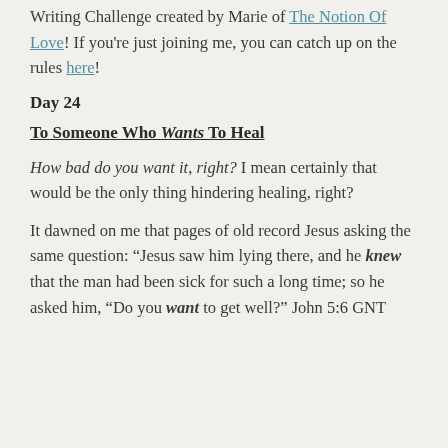Writing Challenge created by Marie of The Notion Of Love! If you're just joining me, you can catch up on the rules here!
Day 24
To Someone Who Wants To Heal
How bad do you want it, right? I mean certainly that would be the only thing hindering healing, right?
It dawned on me that pages of old record Jesus asking the same question: “Jesus saw him lying there, and he knew that the man had been sick for such a long time; so he asked him, “Do you want to get well?” John 5:6 GNT